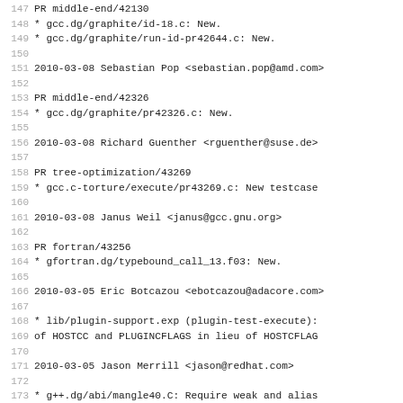147    PR middle-end/42130
148    * gcc.dg/graphite/id-18.c: New.
149    * gcc.dg/graphite/run-id-pr42644.c: New.
150
151 2010-03-08  Sebastian Pop  <sebastian.pop@amd.com>
152
153    PR middle-end/42326
154    * gcc.dg/graphite/pr42326.c: New.
155
156 2010-03-08  Richard Guenther  <rguenther@suse.de>
157
158    PR tree-optimization/43269
159    * gcc.c-torture/execute/pr43269.c: New testcase
160
161 2010-03-08  Janus Weil  <janus@gcc.gnu.org>
162
163    PR fortran/43256
164    * gfortran.dg/typebound_call_13.f03: New.
165
166 2010-03-05  Eric Botcazou  <ebotcazou@adacore.com>
167
168    * lib/plugin-support.exp (plugin-test-execute):
169    of HOSTCC and PLUGINCFLAGS in lieu of HOSTCFLAG
170
171 2010-03-05  Jason Merrill  <jason@redhat.com>
172
173    * g++.dg/abi/mangle40.C: Require weak and alias
174
175 2010-03-05  Sebastian Pop  <sebastian.pop@amd.com>
176
177    PR middle-end/42326
178    * gfortran.dg/graphite/pr42326.f90: New.